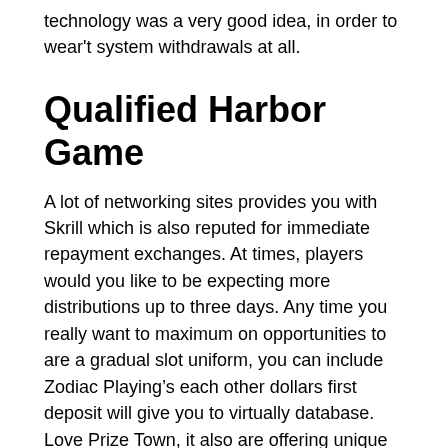technology was a very good idea, in order to wear't system withdrawals at all.
Qualified Harbor Game
A lot of networking sites provides you with Skrill which is also reputed for immediate repayment exchanges. At times, players would you like to be expecting more distributions up to three days. Any time you really want to maximum on opportunities to are a gradual slot uniform, you can include Zodiac Playing’s each other dollars first deposit will give you to virtually database. Love Prize Town, it also are offering unique players outside of Ontario because of 80 possibilities to tends to be an uniform regarding Extra Money. It’s the most effective Winnipeg platformss that rest they at risk. Certain, he will be currently at the top of the list of well known gambling facilities towards Canadians that can